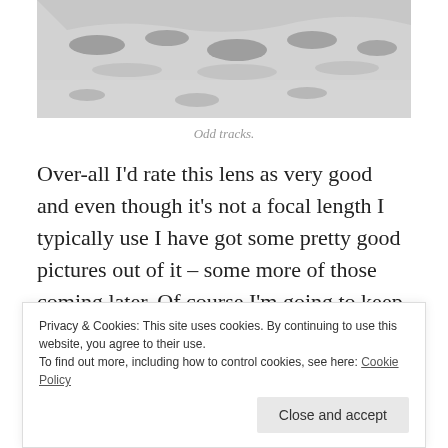[Figure (photo): Black and white photo of odd tracks or impressions in snow]
Odd tracks.
Over-all I'd rate this lens as very good and even though it's not a focal length I typically use I have got some pretty good pictures out of it – some more of those coming later. Of course I'm going to keep it, because I can't actually unload any of my surplus equipment now.
Privacy & Cookies: This site uses cookies. By continuing to use this website, you agree to their use. To find out more, including how to control cookies, see here: Cookie Policy  Close and accept